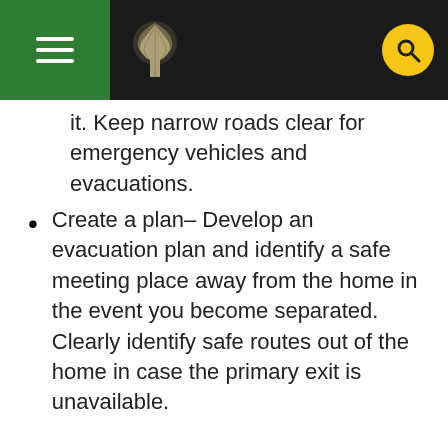it. Keep narrow roads clear for emergency vehicles and evacuations.
Create a plan– Develop an evacuation plan and identify a safe meeting place away from the home in the event you become separated. Clearly identify safe routes out of the home in case the primary exit is unavailable.
AFTER A POWER SHUTOFF